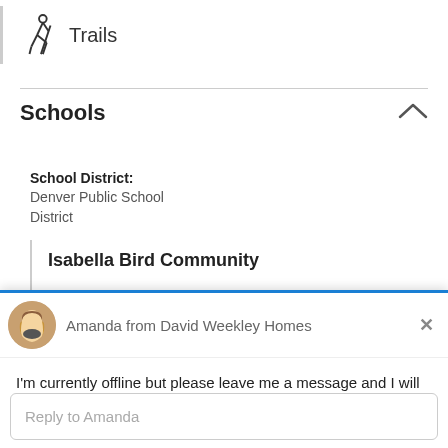Trails
Schools
School District:
Denver Public School District
Isabella Bird Community
Amanda from David Weekley Homes
I'm currently offline but please leave me a message and I will reply as soon as I return!
Reply to Amanda